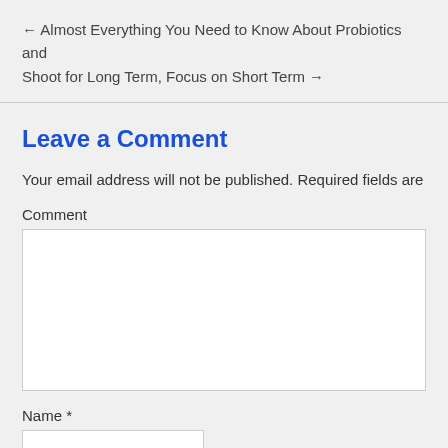← Almost Everything You Need to Know About Probiotics and Shoot for Long Term, Focus on Short Term →
Leave a Comment
Your email address will not be published. Required fields are m
Comment
Name *